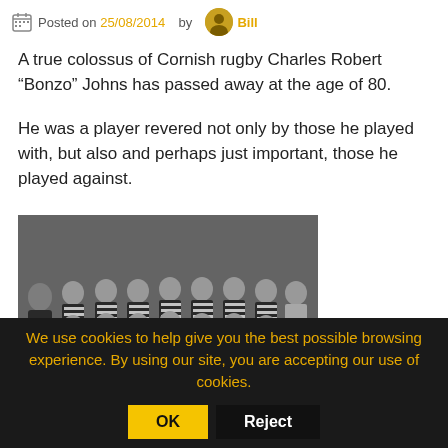Posted on 25/08/2014 by Bill
A true colossus of Cornish rugby Charles Robert “Bonzo” Johns has passed away at the age of 80.
He was a player revered not only by those he played with, but also and perhaps just important, those he played against.
[Figure (photo): Black and white team photo of rugby players in striped jerseys, posed in three rows.]
We use cookies to help give you the best possible browsing experience. By using our site, you are accepting our use of cookies.